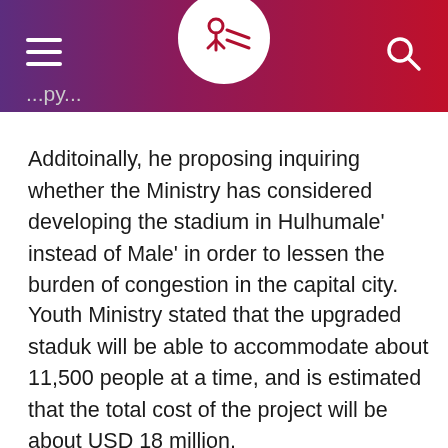[Navigation header with logo]
Additoinally, he proposing inquiring whether the Ministry has considered developing the stadium in Hulhumale’ instead of Male’ in order to lessen the burden of congestion in the capital city.
Youth Ministry stated that the upgraded staduk will be able to accommodate about 11,500 people at a time, and is estimated that the total cost of the project will be about USD 18 million.
Since the plans for stadium were shared, the